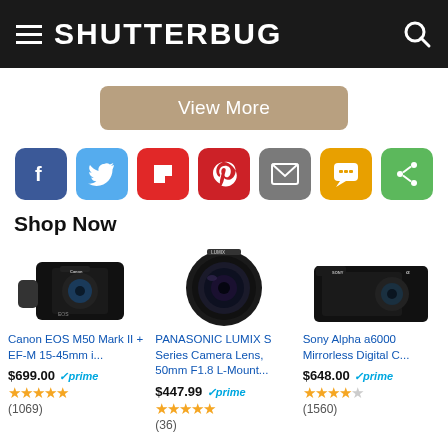SHUTTERBUG
View More
[Figure (screenshot): Social share buttons: Facebook, Twitter, Flipboard, Pinterest, Email, SMS, Share]
Shop Now
[Figure (photo): Canon EOS M50 Mark II mirrorless camera with EF-M 15-45mm lens]
Canon EOS M50 Mark II + EF-M 15-45mm i...
$699.00 prime ★★★★★ (1069)
[Figure (photo): PANASONIC LUMIX S Series 50mm F1.8 L-Mount camera lens]
PANASONIC LUMIX S Series Camera Lens, 50mm F1.8 L-Mount...
$447.99 prime ★★★★★ (36)
[Figure (photo): Sony Alpha a6000 Mirrorless Digital Camera]
Sony Alpha a6000 Mirrorless Digital C...
$648.00 prime ★★★★☆ (1560)